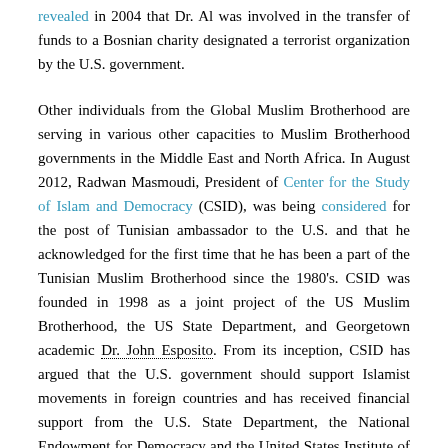revealed in 2004 that Dr. Al was involved in the transfer of funds to a Bosnian charity designated a terrorist organization by the U.S. government.
Other individuals from the Global Muslim Brotherhood are serving in various other capacities to Muslim Brotherhood governments in the Middle East and North Africa. In August 2012, Radwan Masmoudi, President of Center for the Study of Islam and Democracy (CSID), was being considered for the post of Tunisian ambassador to the U.S. and that he acknowledged for the first time that he has been a part of the Tunisian Muslim Brotherhood since the 1980's. CSID was founded in 1998 as a joint project of the US Muslim Brotherhood, the US State Department, and Georgetown academic Dr. John Esposito. From its inception, CSID has argued that the U.S. government should support Islamist movements in foreign countries and has received financial support from the U.S. State Department, the National Endowment for Democracy and the United States Institute of Peace.